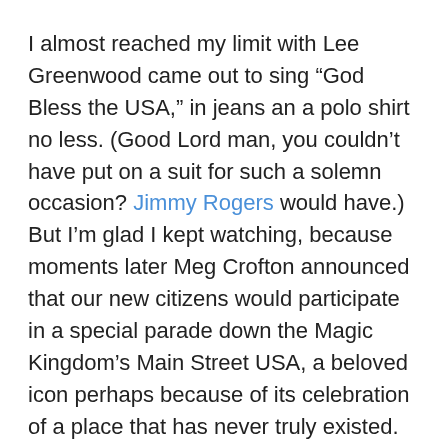I almost reached my limit with Lee Greenwood came out to sing “God Bless the USA,” in jeans an a polo shirt no less. (Good Lord man, you couldn’t have put on a suit for such a solemn occasion? Jimmy Rogers would have.) But I’m glad I kept watching, because moments later Meg Crofton announced that our new citizens would participate in a special parade down the Magic Kingdom’s Main Street USA, a beloved icon perhaps because of its celebration of a place that has never truly existed. And much to my surprise, that’s when I welled up with tears.
Because, despite my anger with my country and its leaders, I still feel lucky to be a US citizen, with my dissent and freedom of expression protected by our First Amendment. And I do know how hard our new citizens have worked to come to our country, and the tremendous